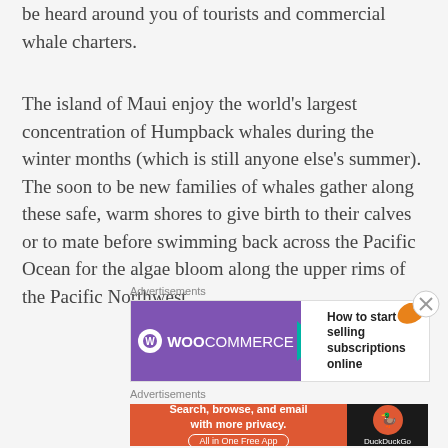be heard around you of tourists and commercial whale charters.
The island of Maui enjoy the world's largest concentration of Humpback whales during the winter months (which is still anyone else's summer). The soon to be new families of whales gather along these safe, warm shores to give birth to their calves or to mate before swimming back across the Pacific Ocean for the algae bloom along the upper rims of the Pacific Northwest.
Advertisements
[Figure (other): WooCommerce advertisement banner: purple left side with WooCommerce logo and teal arrow, white right side with text 'How to start selling subscriptions online' and orange leaf decoration]
Advertisements
[Figure (other): DuckDuckGo advertisement banner: orange/red left side with text 'Search, browse, and email with more privacy. All in One Free App', dark right side with DuckDuckGo logo]